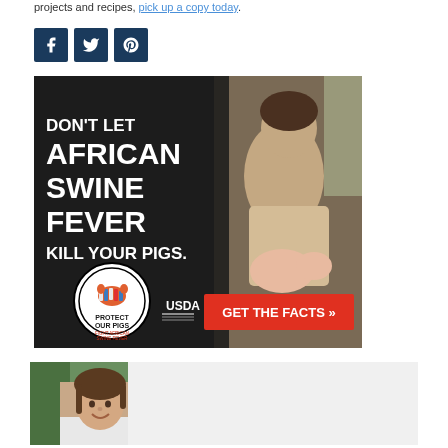projects and recipes, pick up a copy today.
[Figure (other): Social media share buttons: Facebook, Twitter, Pinterest — dark navy square icons with white icons]
[Figure (infographic): USDA African Swine Fever advertisement. Dark background with man holding a pig. White bold text: DON'T LET AFRICAN SWINE FEVER KILL YOUR PIGS. Protect Our Pigs / USDA / Fight African Swine Fever logo. Red button: GET THE FACTS >>]
[Figure (photo): Author photo: smiling woman with hair pulled back, standing in doorway, partial view]